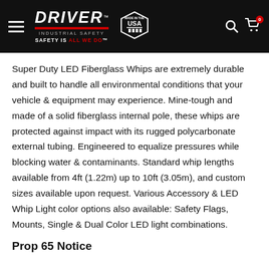DRIVER INDUSTRIAL SAFETY — SAFETY IS ALL WE DO
Super Duty LED Fiberglass Whips are extremely durable and built to handle all environmental conditions that your vehicle & equipment may experience. Mine-tough and made of a solid fiberglass internal pole, these whips are protected against impact with its rugged polycarbonate external tubing. Engineered to equalize pressures while blocking water & contaminants. Standard whip lengths available from 4ft (1.22m) up to 10ft (3.05m), and custom sizes available upon request. Various Accessory & LED Whip Light color options also available: Safety Flags, Mounts, Single & Dual Color LED light combinations.
Prop 65 Notice